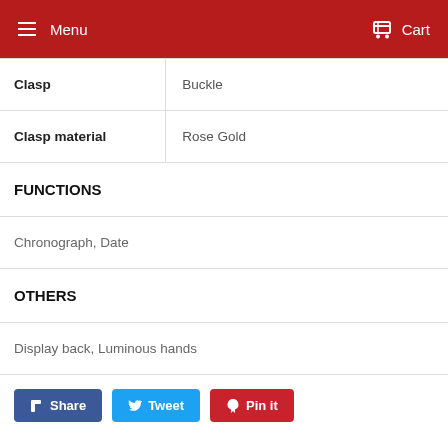Menu   Cart
| Clasp | Buckle |
| Clasp material | Rose Gold |
| FUNCTIONS |  |
| Chronograph, Date |  |
| OTHERS |  |
| Display back, Luminous hands |  |